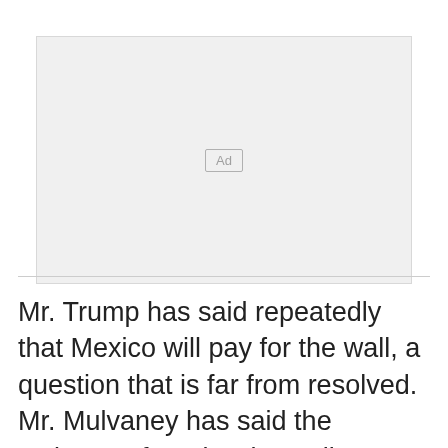[Figure (other): Advertisement placeholder box with 'Ad' label in center]
Mr. Trump has said repeatedly that Mexico will pay for the wall, a question that is far from resolved. Mr. Mulvaney has said the estimates for a border wall run anywhere from $8 million to $25 million a mile along the 1,950-mile border, and that some of it could be